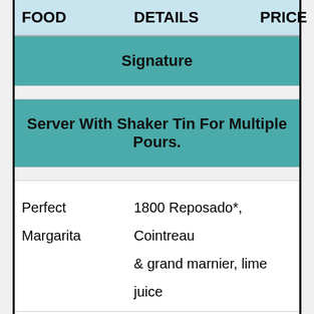| FOOD | DETAILS | PRICE |
| --- | --- | --- |
|  | Signature |  |
|  | Server With Shaker Tin For Multiple Pours. |  |
| Perfect Margarita | 1800 Reposado*, Cointreau & grand marnier, lime juice |  |
| Perfect Patron | Patron Silver*, patron citronge, lime juice |  |